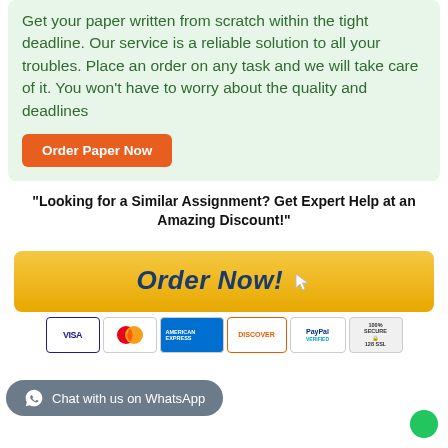Get your paper written from scratch within the tight deadline. Our service is a reliable solution to all your troubles. Place an order on any task and we will take care of it. You won't have to worry about the quality and deadlines
Order Paper Now
"Looking for a Similar Assignment? Get Expert Help at an Amazing Discount!"
[Figure (illustration): Orange/gold 'Order Now!' button with cursor icon and payment method badges below: Visa, MasterCard, American Express, Discover, PayPal, 100% Secure 128 SSL Encryption]
Chat with us on WhatsApp